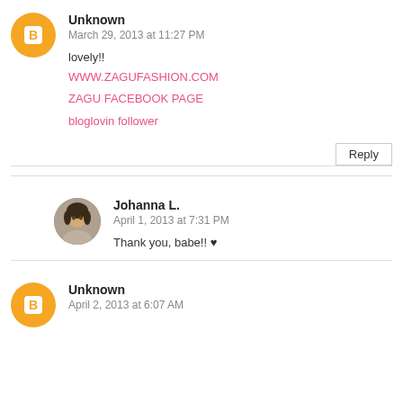Unknown
March 29, 2013 at 11:27 PM
lovely!!
WWW.ZAGUFASHION.COM
ZAGU FACEBOOK PAGE
bloglovin follower
Reply
Johanna L.
April 1, 2013 at 7:31 PM
Thank you, babe!! ♥
Unknown
April 2, 2013 at 6:07 AM